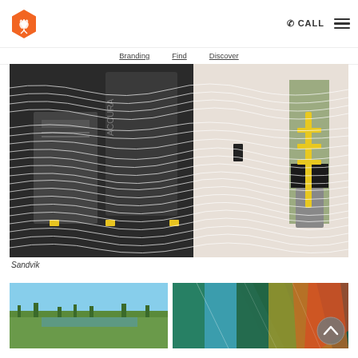Logo | Branding | Find | Discover | CALL | menu
Branding   Find   Discover
[Figure (photo): Glass panel with wavy white line pattern overlaid on industrial machinery (ACCURA brand) and an office lobby area with plants and yellow robotic arm visible. Sandvik branding installation.]
Sandvik
[Figure (photo): Aerial landscape photo showing city/suburban area with green fields]
[Figure (photo): Close-up of colorful industrial material or film with teal, yellow and red tones]